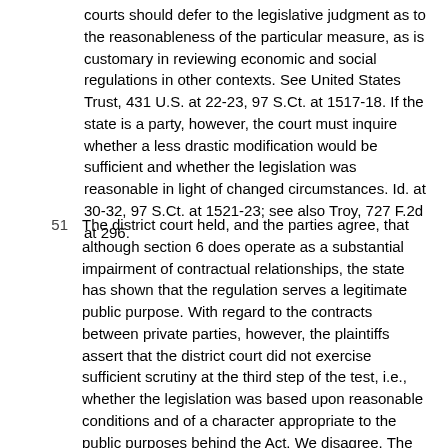courts should defer to the legislative judgment as to the reasonableness of the particular measure, as is customary in reviewing economic and social regulations in other contexts. See United States Trust, 431 U.S. at 22-23, 97 S.Ct. at 1517-18. If the state is a party, however, the court must inquire whether a less drastic modification would be sufficient and whether the legislation was reasonable in light of changed circumstances. Id. at 30-32, 97 S.Ct. at 1521-23; see also Troy, 727 F.2d at 296.
51 The district court held, and the parties agree, that although section 6 does operate as a substantial impairment of contractual relationships, the state has shown that the regulation serves a legitimate public purpose. With regard to the contracts between private parties, however, the plaintiffs assert that the district court did not exercise sufficient scrutiny at the third step of the test, i.e., whether the legislation was based upon reasonable conditions and of a character appropriate to the public purposes behind the Act. We disagree. The legislature expressly found that subsidence damage devastated many surface structures and thus endangered the health, safety, and economic welfare of the Commonwealth and its people. The legislature concluded, not without basis, that property owners who received damage awards would repair their property, ...